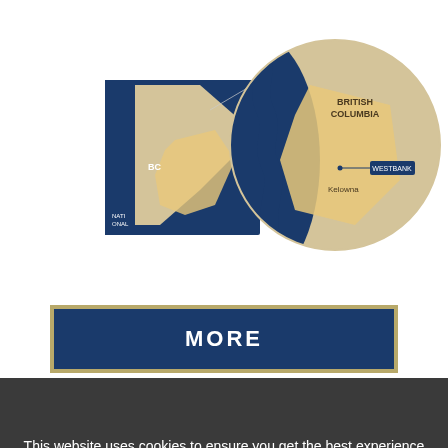[Figure (map): Map showing British Columbia region with a zoomed circular inset highlighting the area including Kelowna and Westbank, with coastal and interior terrain in blue, tan, and orange colors.]
MORE
This website uses cookies to ensure you get the best experience on our website.
I Understand